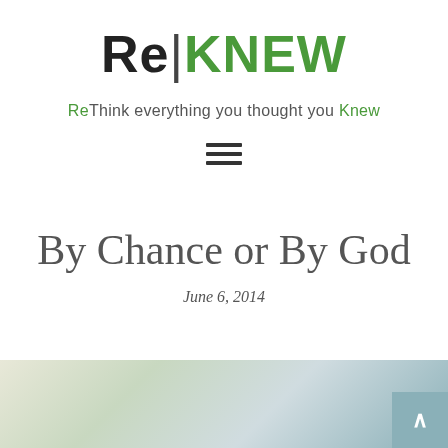ReKNEW
ReThink everything you thought you Knew
[Figure (other): Hamburger menu icon with three horizontal lines]
By Chance or By God
June 6, 2014
[Figure (photo): Blurred background image with soft green and teal tones, partially visible at the bottom of the page. A scroll-to-top button is visible in the lower right corner.]